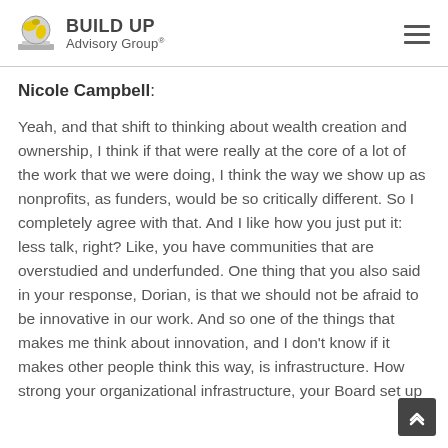BUILD UP Advisory Group®
Nicole Campbell:
Yeah, and that shift to thinking about wealth creation and ownership, I think if that were really at the core of a lot of the work that we were doing, I think the way we show up as nonprofits, as funders, would be so critically different. So I completely agree with that. And I like how you just put it: less talk, right? Like, you have communities that are overstudied and underfunded. One thing that you also said in your response, Dorian, is that we should not be afraid to be innovative in our work. And so one of the things that makes me think about innovation, and I don't know if it makes other people think this way, is infrastructure. How strong your organizational infrastructure, your Board set up